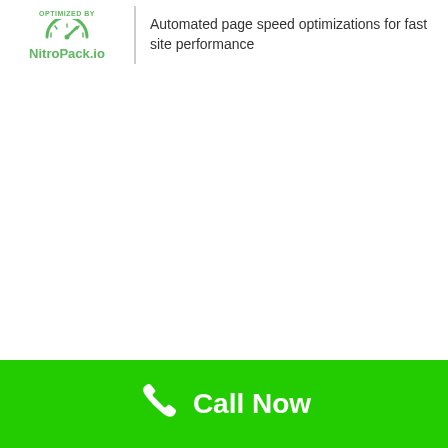[Figure (logo): NitroPack.io logo with speedometer arc icon and 'OPTIMIZED BY' text above, green colored]
Automated page speed optimizations for fast site performance
Call Now